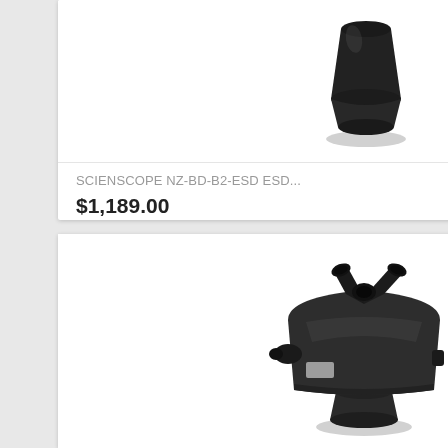[Figure (photo): Dark black microscope barlow lens / eyepiece adapter viewed from above, cone-shaped, against white background]
SCIENSCOPE NZ-BD-B2-ESD ESD...
$1,189.00
[Figure (photo): Black trinocular stereo microscope head with two eyepiece tubes angled outward and one trinocular port on top, viewed from front-left angle, against white background]